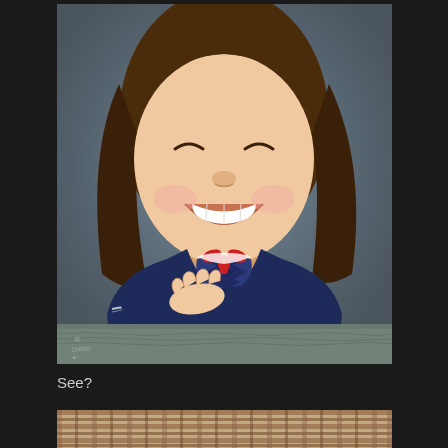[Figure (photo): Vintage school portrait of a young girl with brown shoulder-length hair, big smile showing teeth, wearing a navy blue outfit with a checkered pattern and red ribbon/bow at the collar with lace trim on sleeves, arms crossed on a carpeted surface, against a grey-blue studio background.]
See?
[Figure (photo): Partial view of a plaid fabric or clothing item, cropped at the bottom of the page.]